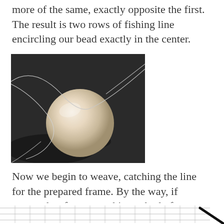more of the same, exactly opposite the first. The result is two rows of fishing line encircling our bead exactly in the center.
[Figure (photo): A round pale wooden bead with fishing line encircling it, photographed on a dark gray background. Two loops of clear thread are visible crossing over the bead equator.]
Now we begin to weave, catching the line for the prepared frame. By the way, if anyone has forgotten, this method of weaving, here is a diagram.
[Figure (illustration): Bottom portion of a weaving diagram showing a grid with a diagonal black line or tool visible in the lower right corner.]